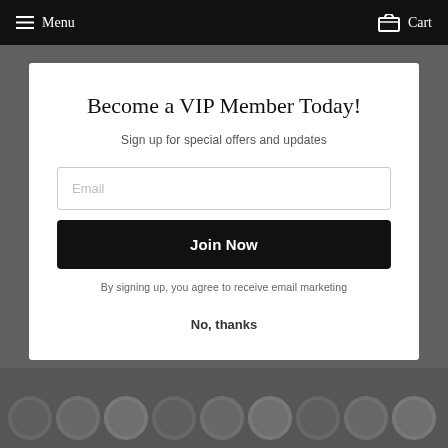Menu   Cart
Become a VIP Member Today!
Sign up for special offers and updates
Email
Join Now
By signing up, you agree to receive email marketing
No, thanks
[Figure (photo): Background with dark beaded bracelets at bottom, dimmed behind modal overlay]